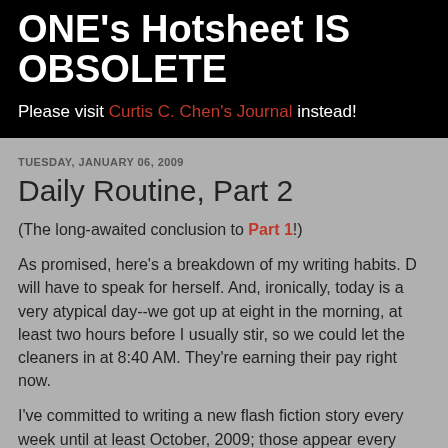ONE'S Hotsheet IS OBSOLETE
Please visit Curtis C. Chen's Journal instead!
TUESDAY, JANUARY 06, 2009
Daily Routine, Part 2
(The long-awaited conclusion to Part 1!)
As promised, here's a breakdown of my writing habits. D will have to speak for herself. And, ironically, today is a very atypical day--we got up at eight in the morning, at least two hours before I usually stir, so we could let the cleaners in at 8:40 AM. They're earning their pay right now.
I've committed to writing a new flash fiction story every week until at least October, 2009; those appear every Friday at 512 Words or Fewer. I usually spend most of Thursday--or Wednesday, if we have other plans for Thursday, as we do this week--writing that story and compiling the audio. Part